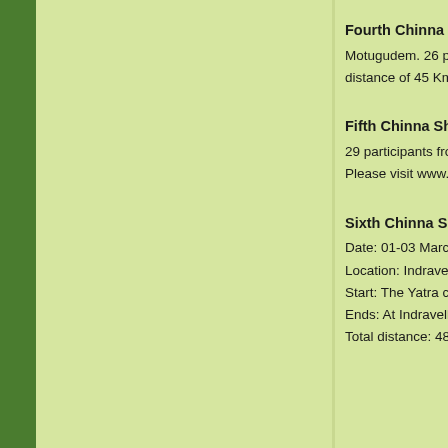Fourth Chinna Shodha Yatra
Motugudem. 26 participants
distance of 45 Kms was c
Fifth Chinna Shodha Yatra
29 participants from all wa
Please visit www.pallesruj
Sixth Chinna Shodha Yatra
Date: 01-03 March 2013
Location: Indravelli Manda
Start: The Yatra commenc
Ends: At Indravelli on Sun
Total distance: 48 Kms.